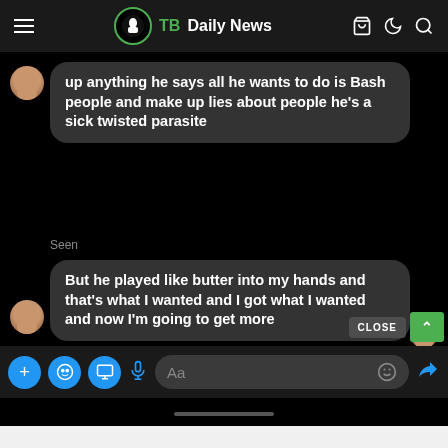TB Daily News
[Figure (screenshot): Facebook Messenger chat screenshot on a black background. First message bubble (dark gray, received): 'up anything he says all he wants to do is Bash people and make up lies about people he's a sick twisted parasite' with 'Seen' label below. Second message bubble (dark gray, received): 'But he played like butter into my hands and that's what I wanted and I got what I wanted and now I'm going to get more'. Input bar at bottom with icons and 'Aa' placeholder. CLOSE button and green scroll-up arrow visible.]
up anything he says all he wants to do is Bash people and make up lies about people he's a sick twisted parasite
Seen
But he played like butter into my hands and that's what I wanted and I got what I wanted and now I'm going to get more